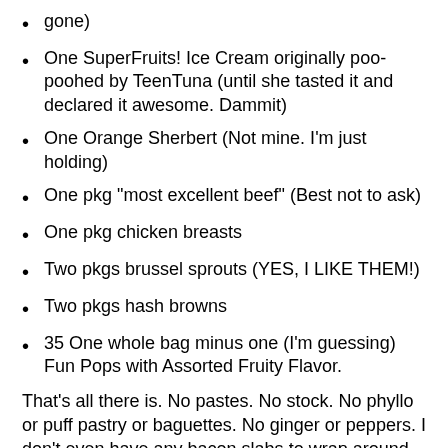gone)
One SuperFruits! Ice Cream originally poo-poohed by TeenTuna (until she tasted it and declared it awesome. Dammit)
One Orange Sherbert (Not mine. I'm just holding)
One pkg "most excellent beef" (Best not to ask)
One pkg chicken breasts
Two pkgs brussel sprouts (YES, I LIKE THEM!)
Two pkgs hash browns
35 One whole bag minus one (I'm guessing) Fun Pops with Assorted Fruity Flavor.
That's all there is. No pastes. No stock. No phyllo or puff pastry or baguettes. No ginger or peppers. I don't even have any bacon slabs to wrap around my fun pops with assorted fruity flavor. No wonder there are 35 left. Who wants a baconless popsicle? Oh, and yeah, it's about negative 80 jillion outside, making popsicle consumption a little...well